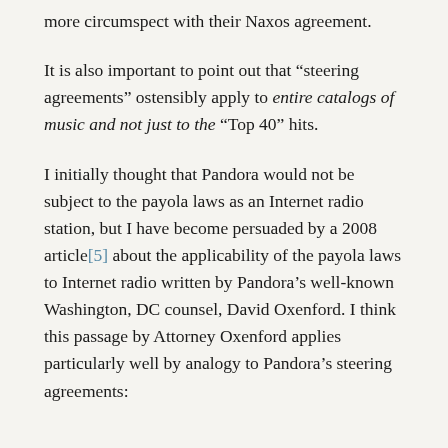more circumspect with their Naxos agreement.
It is also important to point out that "steering agreements" ostensibly apply to entire catalogs of music and not just to the "Top 40" hits.
I initially thought that Pandora would not be subject to the payola laws as an Internet radio station, but I have become persuaded by a 2008 article[5] about the applicability of the payola laws to Internet radio written by Pandora's well-known Washington, DC counsel, David Oxenford. I think this passage by Attorney Oxenford applies particularly well by analogy to Pandora's steering agreements: